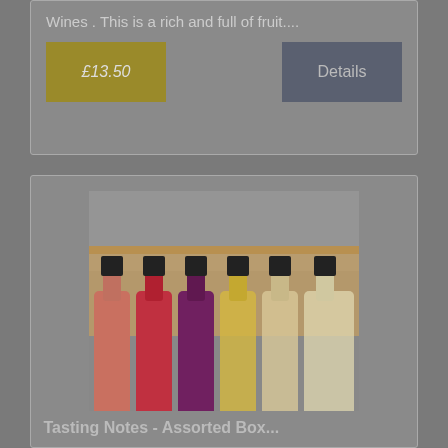Wines . This is a rich and full of fruit....
£13.50
Details
[Figure (photo): Six bottles of DJ Wines in a wooden box carrier, showing various fruit wines with dark labels including Strawberry Wine, Autumn Wine, Raspberry Wine, Rhubarb Wine, Blackcurrant & Gooseberry Wine, and Gooseberry Wine]
Tasting Notes - Assorted Box...